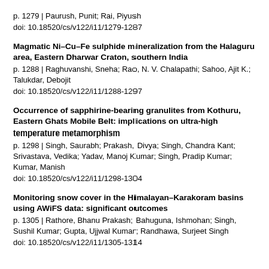p. 1279 | Paurush, Punit; Rai, Piyush
doi: 10.18520/cs/v122/i11/1279-1287
Magmatic Ni–Cu–Fe sulphide mineralization from the Halaguru area, Eastern Dharwar Craton, southern India
p. 1288 | Raghuvanshi, Sneha; Rao, N. V. Chalapathi; Sahoo, Ajit K.; Talukdar, Debojit
doi: 10.18520/cs/v122/i11/1288-1297
Occurrence of sapphirine-bearing granulites from Kothuru, Eastern Ghats Mobile Belt: implications on ultra-high temperature metamorphism
p. 1298 | Singh, Saurabh; Prakash, Divya; Singh, Chandra Kant; Srivastava, Vedika; Yadav, Manoj Kumar; Singh, Pradip Kumar; Kumar, Manish
doi: 10.18520/cs/v122/i11/1298-1304
Monitoring snow cover in the Himalayan–Karakoram basins using AWiFS data: significant outcomes
p. 1305 | Rathore, Bhanu Prakash; Bahuguna, Ishmohan; Singh, Sushil Kumar; Gupta, Ujjwal Kumar; Randhawa, Surjeet Singh
doi: 10.18520/cs/v122/i11/1305-1314